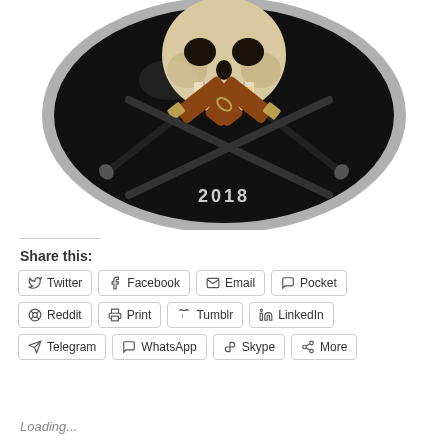[Figure (photo): A colorized collector coin featuring a skull with crossed pistols/flintlock guns and the year 2018 engraved at the bottom, on a black coin face with a silver rim. The coin is shown cropped, displaying the lower portion of the skull and the crossed guns prominently.]
Share this:
Twitter
Facebook
Email
Pocket
Reddit
Print
Tumblr
LinkedIn
Telegram
WhatsApp
Skype
More
Loading...